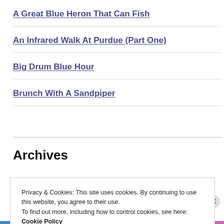A Great Blue Heron That Can Fish
An Infrared Walk At Purdue (Part One)
Big Drum Blue Hour
Brunch With A Sandpiper
Archives
Privacy & Cookies: This site uses cookies. By continuing to use this website, you agree to their use.
To find out more, including how to control cookies, see here: Cookie Policy